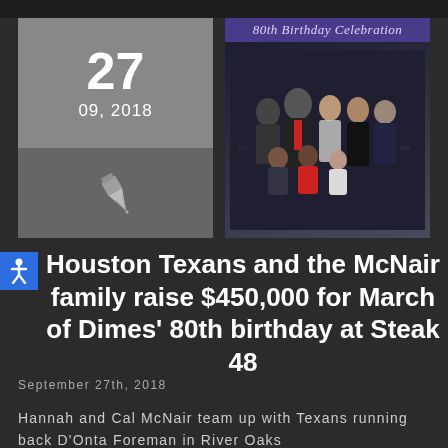[Figure (photo): Group photo at 80th Birthday Celebration event with banner reading '80th Birthday Celebration', showing adults and children posed together in formal attire]
Houston Texans and the McNair family raise $450,000 for March of Dimes' 80th birthday at Steak 48
September 27th, 2018
Hannah and Cal McNair team up with Texans running back D'Onta Foreman in River Oaks